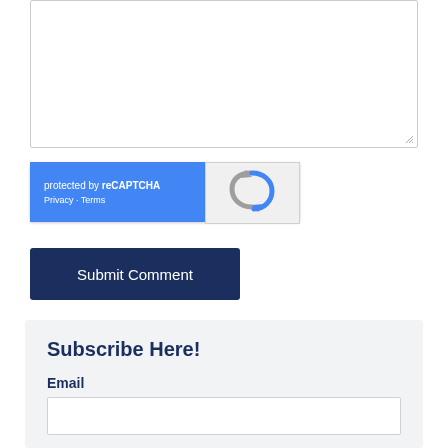[Figure (screenshot): Text area input box with resize handle at bottom-right corner]
[Figure (screenshot): reCAPTCHA widget with blue left panel showing 'protected by reCAPTCHA' and Privacy - Terms links, and grey right panel with reCAPTCHA logo]
[Figure (screenshot): Submit Comment button, dark navy blue background with white text]
Subscribe Here!
Email
[Figure (screenshot): Email input text field, empty, white background]